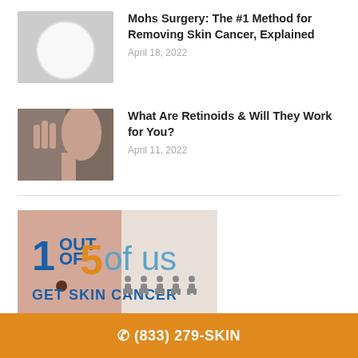[Figure (photo): Light grey circle placeholder thumbnail for Mohs Surgery article]
Mohs Surgery: The #1 Method for Removing Skin Cancer, Explained
April 18, 2022
[Figure (photo): Photo of a person showing fingers near chin, related to retinoids article]
What Are Retinoids & Will They Work for You?
April 11, 2022
[Figure (infographic): Infographic showing '1 OUT OF 5 of us GET SKIN CANCER' with person icons]
☎ (833) 279-SKIN